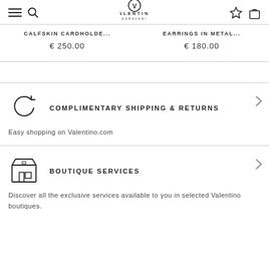Valentino Garavani — navigation header with logo, search, menu, wishlist, and bag icons
CALFSKIN CARDHOLDE... € 250.00
EARRINGS IN METAL... € 180.00
[Figure (infographic): Circular arrow (refresh/return) icon representing complimentary shipping and returns]
COMPLIMENTARY SHIPPING & RETURNS
Easy shopping on Valentino.com
[Figure (infographic): Boutique storefront icon representing boutique services]
BOUTIQUE SERVICES
Discover all the exclusive services available to you in selected Valentino boutiques.